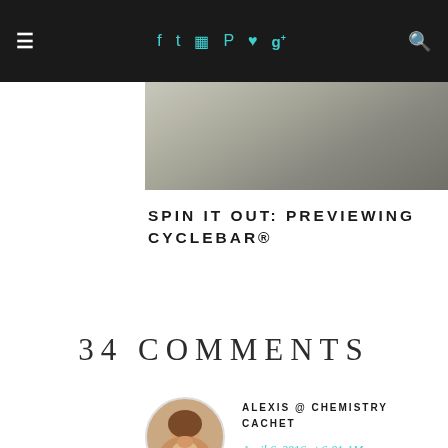≡  f  t  🎥  ®  ♥  g+  🔍
[Figure (photo): Partial photo strip showing a textured gray surface, possibly stone or concrete]
SPIN IT OUT: PREVIEWING CYCLEBAR®
34 COMMENTS
[Figure (photo): Circular avatar of a woman with brown hair smiling, holding something]
ALEXIS @ CHEMISTRY CACHET
April 6, 2016 at 6:01 AM
They started carrying ELF at